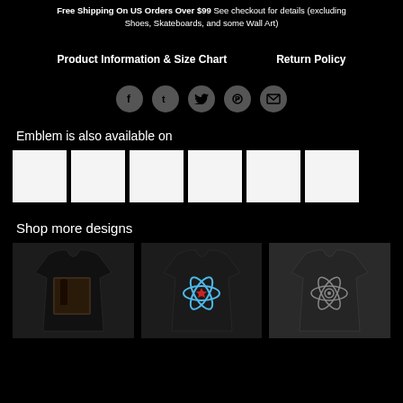Free Shipping On US Orders Over $99 See checkout for details (excluding Shoes, Skateboards, and some Wall Art)
Product Information & Size Chart    Return Policy
[Figure (infographic): Social share icons: Facebook, Tumblr, Twitter, Pinterest, Email — circular gray icons on black background]
Emblem is also available on
[Figure (infographic): Six white/light square thumbnail placeholder images in a row]
Shop more designs
[Figure (photo): Three product t-shirt images: left - dark t-shirt with photo print, center - dark t-shirt with blue atom design and red star, right - dark t-shirt with grey atom outline design]